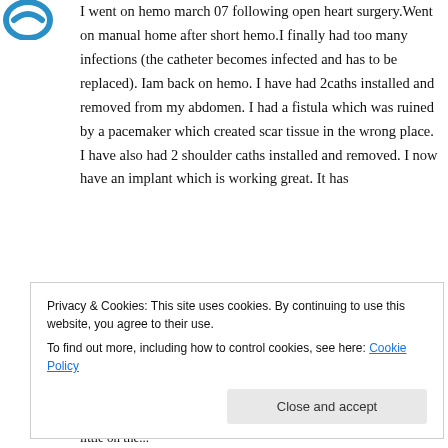[Figure (logo): Blue circular logo/avatar icon in top left corner]
I went on hemo march 07 following open heart surgery.Went on manual home after short hemo.I finally had too many infections (the catheter becomes infected and has to be replaced). Iam back on hemo. I have had 2caths installed and removed from my abdomen. I had a fistula which was ruined by a pacemaker which created scar tissue in the wrong place. I have also had 2 shoulder caths installed and removed. I now have an implant which is working great. It has
Privacy & Cookies: This site uses cookies. By continuing to use this website, you agree to their use.
To find out more, including how to control cookies, see here: Cookie Policy
Close and accept
little on the ...